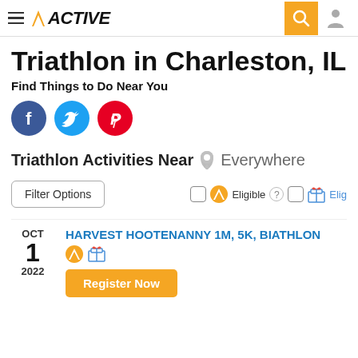ACTIVE — navigation header with search and user icon
Triathlon in Charleston, IL
Find Things to Do Near You
[Figure (infographic): Social share buttons: Facebook (blue circle), Twitter (light blue circle), Pinterest (red circle)]
Triathlon Activities Near  Everywhere
Filter Options  Eligible  Elig
OCT 1 2022  HARVEST HOOTENANNY 1M, 5K, BIATHLON  Register Now